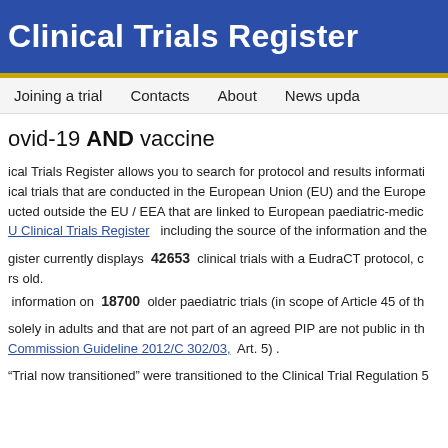Clinical Trials Register
Joining a trial   Contacts   About   News updates
Covid-19 AND vaccine
Clinical Trials Register allows you to search for protocol and results information on clinical trials that are conducted in the European Union (EU) and the European Economic Area and trials conducted outside the EU / EEA that are linked to European paediatric-medicine regulatory activities. About EU Clinical Trials Register including the source of the information and the
Register currently displays 42653 clinical trials with a EudraCT protocol, of which are years old.
information on 18700 older paediatric trials (in scope of Article 45 of th
solely in adults and that are not part of an agreed PIP are not public in the Commission Guideline 2012/C 302/03, Art. 5) .
"Trial now transitioned" were transitioned to the Clinical Trial Regulation 5